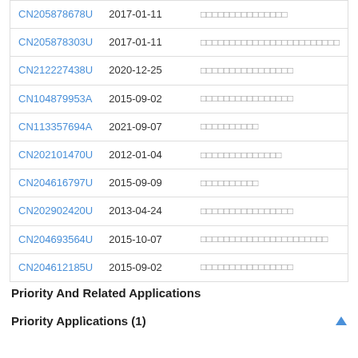| Patent Number | Date | Title |
| --- | --- | --- |
| CN205878678U | 2017-01-11 | □□□□□□□□□□□□□□□ |
| CN205878303U | 2017-01-11 | □□□□□□□□□□□□□□□□□□□□□□□□ |
| CN212227438U | 2020-12-25 | □□□□□□□□□□□□□□□□ |
| CN104879953A | 2015-09-02 | □□□□□□□□□□□□□□□□ |
| CN113357694A | 2021-09-07 | □□□□□□□□□□ |
| CN202101470U | 2012-01-04 | □□□□□□□□□□□□□□ |
| CN204616797U | 2015-09-09 | □□□□□□□□□□ |
| CN202902420U | 2013-04-24 | □□□□□□□□□□□□□□□□ |
| CN204693564U | 2015-10-07 | □□□□□□□□□□□□□□□□□□□□□□ |
| CN204612185U | 2015-09-02 | □□□□□□□□□□□□□□□□ |
Priority And Related Applications
Priority Applications (1)